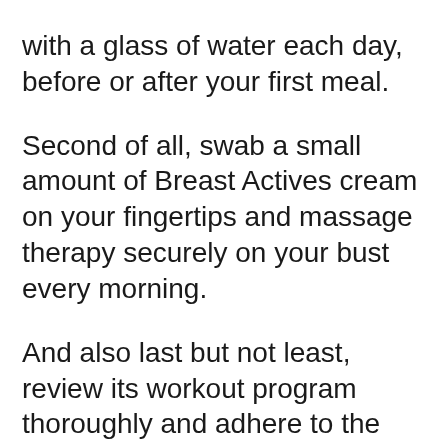with a glass of water each day, before or after your first meal. Second of all, swab a small amount of Breast Actives cream on your fingertips and massage therapy securely on your bust every morning. And also last but not least, review its workout program thoroughly and adhere to the various massage therapy strategies, diet & health and wellness programs effectively to enhance your bust size. Last judgment
Bust Actives is just one of the prominent and also widely made use of products that help natural breast enhancement without leaving any side-effect. This exclusive product comprises breast enhancement tablet,